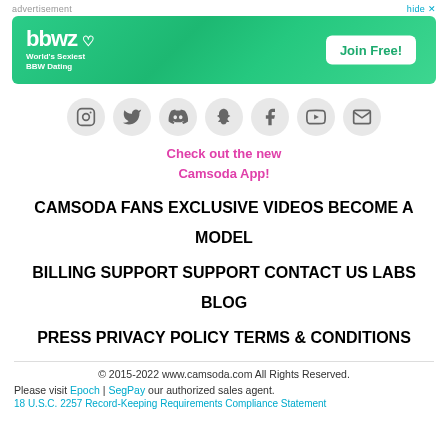[Figure (other): Advertisement banner for bbwz dating site with green background, 'Join Free!' button]
[Figure (infographic): Row of 7 social media icons: Instagram, Twitter, Discord, Snapchat, Facebook, YouTube, Email]
Check out the new Camsoda App!
CAMSODA FANS   EXCLUSIVE VIDEOS   BECOME A MODEL   BILLING SUPPORT   SUPPORT   CONTACT US   LABS   BLOG   PRESS   PRIVACY POLICY   TERMS & CONDITIONS
© 2015-2022 www.camsoda.com All Rights Reserved.
Please visit Epoch | SegPay our authorized sales agent.
18 U.S.C. 2257 Record-Keeping Requirements Compliance Statement